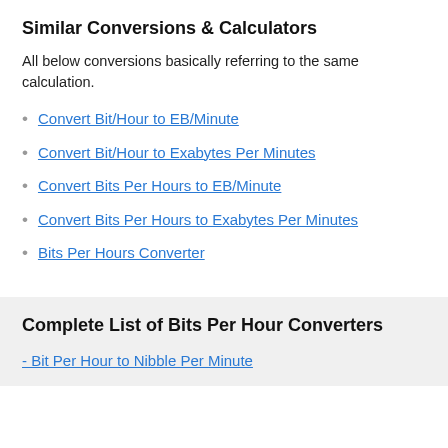Similar Conversions & Calculators
All below conversions basically referring to the same calculation.
Convert Bit/Hour to EB/Minute
Convert Bit/Hour to Exabytes Per Minutes
Convert Bits Per Hours to EB/Minute
Convert Bits Per Hours to Exabytes Per Minutes
Bits Per Hours Converter
Complete List of Bits Per Hour Converters
- Bit Per Hour to Nibble Per Minute